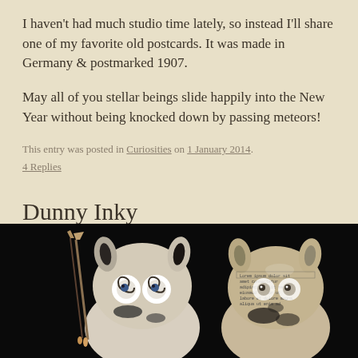I haven't had much studio time lately, so instead I'll share one of my favorite old postcards. It was made in Germany & postmarked 1907.
May all of you stellar beings slide happily into the New Year without being knocked down by passing meteors!
This entry was posted in Curiosities on 1 January 2014.
4 Replies
Dunny Inky
Custom Dunny: Acrylic, text collage & found objects on vinyl toy
[Figure (photo): Two custom vinyl Dunny toys photographed against a black background. The left Dunny holds paintbrushes and has swirling painted eyes. The right Dunny is covered in text collage with newsprint-style text.]